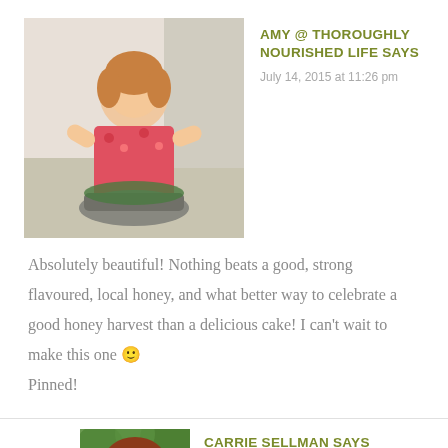[Figure (photo): Profile photo of Amy, a woman in a floral sleeveless top cooking in a kitchen]
AMY @ THOROUGHLY NOURISHED LIFE SAYS
July 14, 2015 at 11:26 pm
Absolutely beautiful! Nothing beats a good, strong flavoured, local honey, and what better way to celebrate a good honey harvest than a delicious cake! I can't wait to make this one 🙂 Pinned!
[Figure (photo): Profile photo of Carrie Sellman, a woman with reddish-brown hair against a green background]
CARRIE SELLMAN SAYS
July 22, 2015 at 9:19 pm